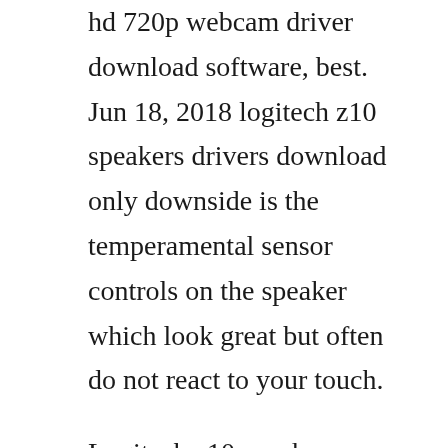hd 720p webcam driver download software, best. Jun 18, 2018 logitech z10 speakers drivers download only downside is the temperamental sensor controls on the speaker which look great but often do not react to your touch.
Logitech z10 speakers driver download take command of your music with fingertip controls for volume, bass, treble, playback, and track selection. At this time, we are directing all technical support requests through email and chat support only. Aug 21, 2008 the logitech z10 speakers offer...